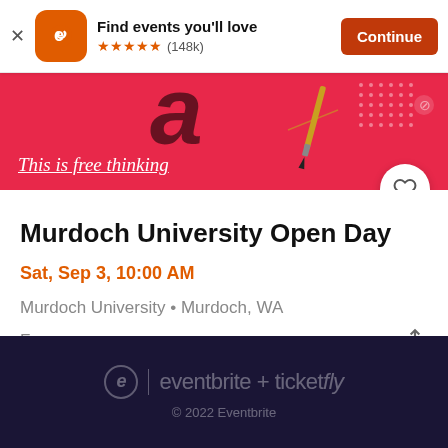[Figure (screenshot): Eventbrite app install banner with logo, 'Find events you'll love' text, 5-star rating (148k reviews), and Continue button]
[Figure (illustration): Red hero banner with 'This is free thinking' cursive text, decorative pen/pencil illustration, dots pattern, and circular heart/favorite button]
Murdoch University Open Day
Sat, Sep 3, 10:00 AM
Murdoch University • Murdoch, WA
Free
eventbrite + ticketfly
© 2022 Eventbrite